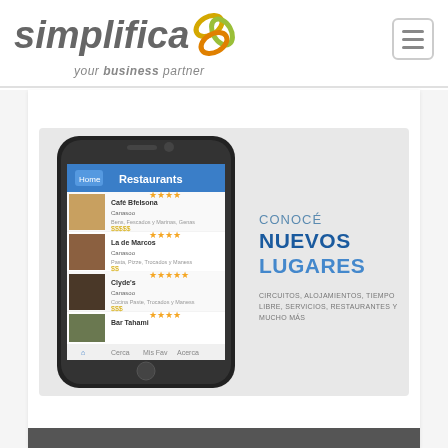simplifica your business partner
[Figure (screenshot): Mobile app screenshot showing a restaurant listings app with ratings. Next to the phone, text reads: CONOCÉ NUEVOS LUGARES - CIRCUITOS, ALOJAMIENTOS, TIEMPO LIBRE, SERVICIOS, RESTAURANTES Y MUCHO MÁS]